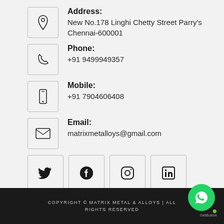Address: New No.178 Linghi Chetty Street Parry's Chennai-600001
Phone: +91 9499949357
Mobile: +91 7904606408
Email: matrixmetalloys@gmail.com
[Figure (other): Social media icons: Twitter, Facebook, Instagram, LinkedIn]
COPYRIGHT © MATRIX METAL & ALLOYS | ALL RIGHTS RESERVED